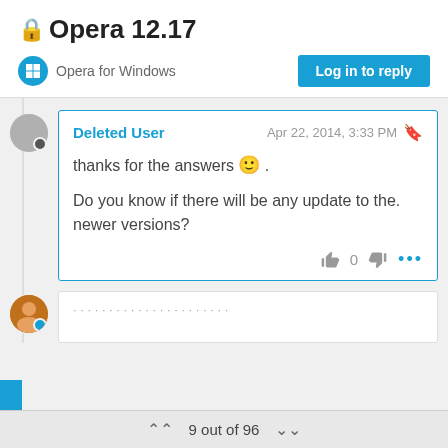Opera 12.17
Opera for Windows
Log in to reply
Deleted User  Apr 22, 2014, 3:33 PM
thanks for the answers 🙂 .
Do you know if there will be any update to the. newer versions?
9 out of 96